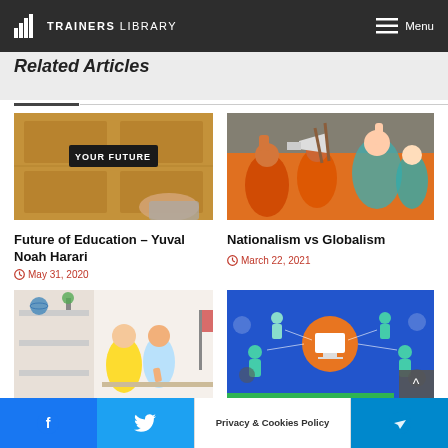TRAINERS LIBRARY — Menu
Related Articles
[Figure (photo): A hand knocking on a wooden door with a sign reading YOUR FUTURE]
Future of Education – Yuval Noah Harari
May 31, 2020
[Figure (photo): A crowd of protesters celebrating, one holding a megaphone and drumsticks]
Nationalism vs Globalism
March 22, 2021
[Figure (photo): Children sitting in a classroom with a globe visible on shelf]
[Figure (infographic): Digital connectivity infographic with people and icons around a computer screen on blue background]
Privacy & Cookies Policy